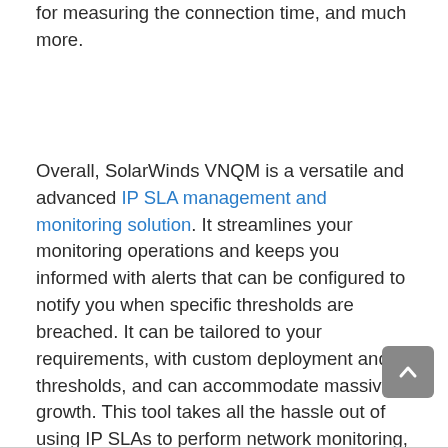DNS for measuring the DNS lookup time, TTL for measuring the connection time, and much more.
Overall, SolarWinds VNQM is a versatile and advanced IP SLA management and monitoring solution. It streamlines your monitoring operations and keeps you informed with alerts that can be configured to notify you when specific thresholds are breached. It can be tailored to your requirements, with custom deployment and thresholds, and can accommodate massive growth. This tool takes all the hassle out of using IP SLAs to perform network monitoring, and it comes highly recommended. A 30-day free trial is available.